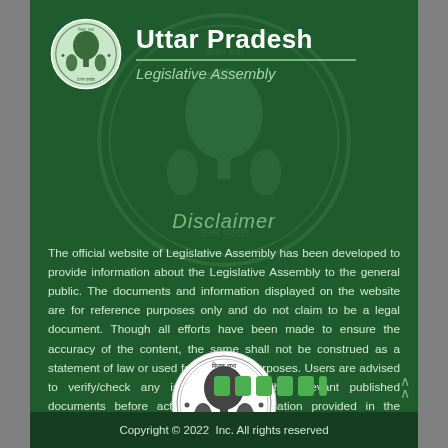[Figure (logo): Uttar Pradesh Legislative Assembly emblem/seal — circular badge with tree and figures, text in Hindi around perimeter]
Uttar Pradesh
Legislative Assembly
Disclaimer
The official website of Legislative Assembly has been developed to provide information about the Legislative Assembly to the general public. The documents and information displayed on the website are for reference purposes only and do not claim to be a legal document. Though all efforts have been made to ensure the accuracy of the content, the same shall not be construed as a statement of law or used for any legal purposes. Users are advised to verify/check any information with the relevant published documents before acting on the information provided in the website.
[Figure (logo): Uttar Pradesh Legislative Assembly official seal/emblem — circular stamp with tree motif and Hindi text, white on dark background, centered over body text as watermark]
Copyright © 2022  Inc. All rights reserved